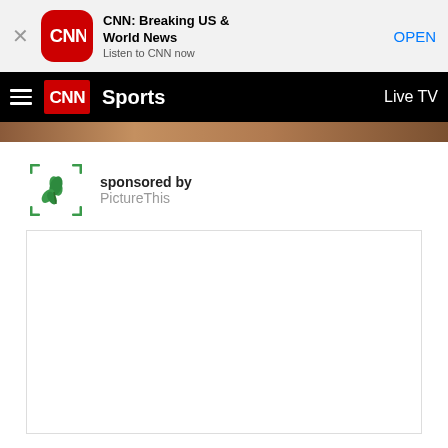[Figure (screenshot): CNN app banner with close button, CNN rounded square red icon, app title 'CNN: Breaking US & World News', subtitle 'Listen to CNN now', and OPEN button]
[Figure (screenshot): CNN Sports navigation bar with hamburger menu, CNN red logo badge, Sports label in white bold, and Live TV text on right]
[Figure (photo): Partial photo strip showing warm brown tones, cropped at top]
sponsored by
PictureThis
[Figure (other): Empty white ad box with light border]